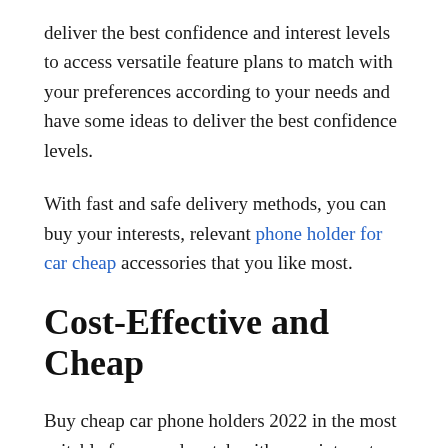deliver the best confidence and interest levels to access versatile feature plans to match with your preferences according to your needs and have some ideas to deliver the best confidence levels.
With fast and safe delivery methods, you can buy your interests, relevant phone holder for car cheap accessories that you like most.
Cost-Effective and Cheap
Buy cheap car phone holders 2022 in the most suitable forms and match with your interests and preferences levels with instant and fast accessibility resources according to your values and useful points of interest.